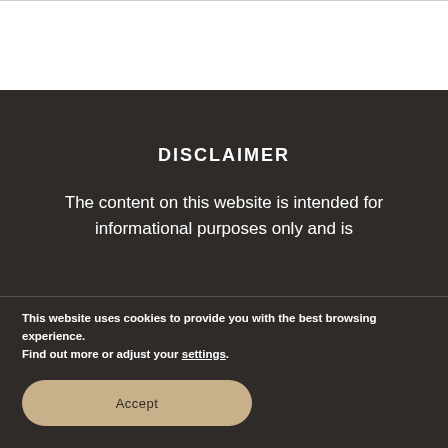DISCLAIMER
The content on this website is intended for informational purposes only and is
This website uses cookies to provide you with the best browsing experience.
Find out more or adjust your settings.
Accept